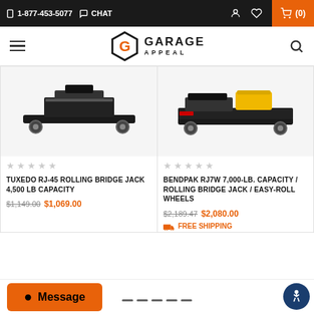1-877-453-5077  CHAT  (0)
[Figure (logo): Garage Appeal logo with stylized G icon and text GARAGE APPEAL]
[Figure (photo): Tuxedo RJ-45 Rolling Bridge Jack product photo, low profile black jack on white background]
[Figure (photo): BendPak RJ7W 7000-lb Rolling Bridge Jack product photo with yellow hydraulic cylinder, black frame]
★★★★★ TUXEDO RJ-45 ROLLING BRIDGE JACK 4,500 LB CAPACITY $1,149.00 $1,069.00
★★★★★ BENDPAK RJ7W 7,000-LB. CAPACITY / ROLLING BRIDGE JACK / EASY-ROLL WHEELS $2,189.47 $2,080.00 FREE SHIPPING
Message